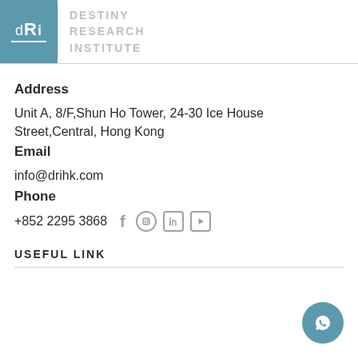[Figure (logo): DRI logo - teal square with 'DRI' text in white, with underline. Next to it: 'DESTINY RESEARCH INSTITUTE' in light gray capital letters.]
Address
Unit A, 8/F,Shun Ho Tower, 24-30 Ice House Street,Central, Hong Kong
Email
info@drihk.com
Phone
+852 2295 3868
USEFUL LINK